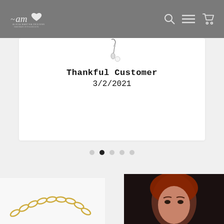am Alexa Martha Designs
[Figure (photo): Small jewelry earring image at top of card]
Thankful Customer
3/2/2021
[Figure (other): Carousel navigation dots, 5 dots with second dot active]
[Figure (photo): Gold chain necklace product photo on white background]
[Figure (photo): Portrait of a woman with red hair in dark background]